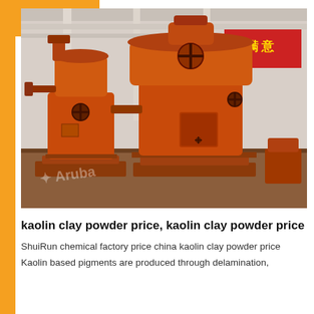[Figure (photo): Industrial orange powder grinding mill machines (Raymond mills) in a factory setting. Two large orange cylindrical grinding machines are prominently displayed on a factory floor with white structural columns and red Chinese signage in the background. A watermark reading 'Aruba' appears in the lower left of the photo.]
kaolin clay powder price, kaolin clay powder price
ShuiRun chemical factory price china kaolin clay powder price
Kaolin based pigments are produced through delamination,